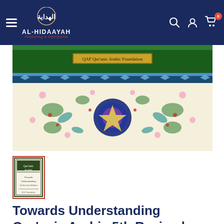AL-HIDAAYAH Publishing & Distribution
[Figure (photo): Product image showing ornamental Islamic geometric/floral pattern border in green, blue, red and gold colors with 'QAF Qur'anic Arabic Foundation' text label in the center]
[Figure (photo): Thumbnail of book cover for 'Qur'anic Arabic' with dark border and cream interior]
Towards Understanding Qur'anic Arabic 5th Revised Edition by Dr